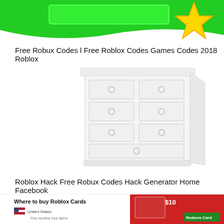[Figure (screenshot): Green promotional banner at top with a green button/rectangle and a yellow star graphic on the right, with a wave along the bottom.]
Free Robux Codes l Free Roblox Codes Games Codes 2018 Roblox
[Figure (illustration): White dresser/chest of drawers illustration with round knobs on each drawer. Multiple rows of drawers visible.]
Roblox Hack Free Robux Codes Hack Generator Home Facebook
[Figure (screenshot): Bottom section showing Roblox card buying guide. Left side shows 'Where to buy Roblox Cards' with US flag and 'This months free items' text. Right side shows a $10 Roblox gift card image with a green 'Redeem Card' button.]